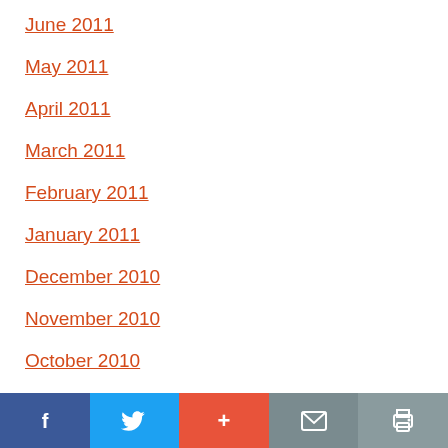June 2011
May 2011
April 2011
March 2011
February 2011
January 2011
December 2010
November 2010
October 2010
Facebook | Twitter | + | Mail | Print